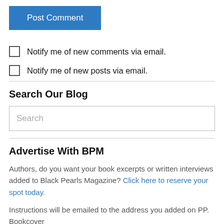[Figure (other): Blue 'Post Comment' button]
Notify me of new comments via email.
Notify me of new posts via email.
Search Our Blog
[Figure (other): Search input box with placeholder text 'Search']
Advertise With BPM
Authors, do you want your book excerpts or written interviews added to Black Pearls Magazine? Click here to reserve your spot today.
Instructions will be emailed to the address you added on PP. Bookcover